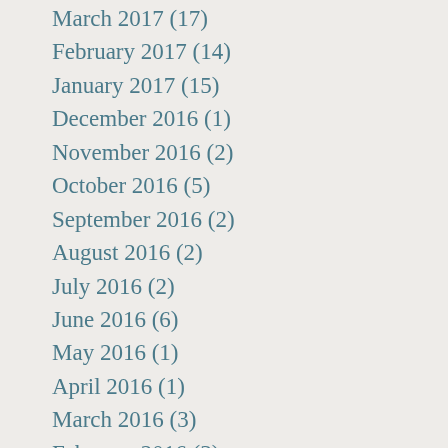March 2017 (17)
February 2017 (14)
January 2017 (15)
December 2016 (1)
November 2016 (2)
October 2016 (5)
September 2016 (2)
August 2016 (2)
July 2016 (2)
June 2016 (6)
May 2016 (1)
April 2016 (1)
March 2016 (3)
February 2016 (3)
December 2015 (2)
November 2015 (2)
October 2015 (2)
September 2015 (3)